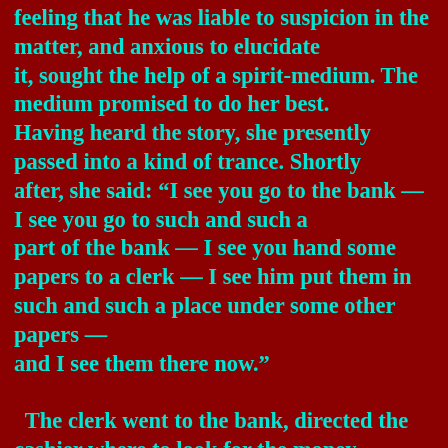feeling that he was liable to suspicion in the matter, and anxious to elucidate it, sought the help of a spirit-medium. The medium promised to do her best. Having heard the story, she presently passed into a kind of trance. Shortly after, she said: “I see you go to the bank — I see you go to such and such a part of the bank — I see you hand some papers to a clerk — I see him put them in such and such a place under some other papers — and I see them there now.”

  The clerk went to the bank, directed the cashier where to look for the money, and it was found; the cashier afterwards remembering that in the hurry of business he had there deposited it. A relation of mine saw this story in a